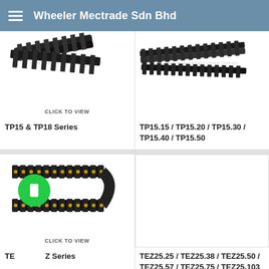Wheeler Mectrade Sdn Bhd
[Figure (photo): Black cable chain/drag chain product photo with CLICK TO VIEW label]
[Figure (photo): Black cable chain/drag chain product photo with CLICK TO VIEW label]
TP15 & TP18 Series
TP15.15 / TP15.20 / TP15.30 / TP15.40 / TP15.50
[Figure (photo): Black and yellow cable drag chain product photo with watermark and CLICK TO VIEW label]
[Figure (photo): Empty white product image box]
TEZ Series
TEZ25.25 / TEZ25.38 / TEZ25.50 / TEZ25.57 / TEZ25.75 / TEZ25.103